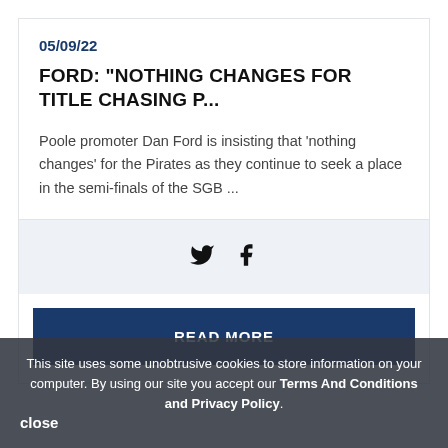05/09/22
FORD: "NOTHING CHANGES FOR TITLE CHASING P...
Poole promoter Dan Ford is insisting that 'nothing changes' for the Pirates as they continue to seek a place in the semi-finals of the SGB ...
[Figure (infographic): Twitter and Facebook social share icons]
READ MORE
This site uses some unobtrusive cookies to store information on your computer. By using our site you accept our Terms And Conditions and Privacy Policy.
close